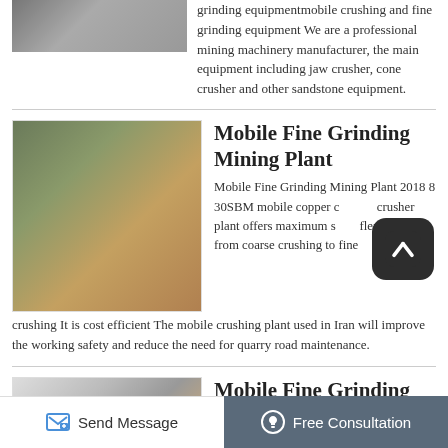[Figure (photo): Mining/industrial machinery equipment photo at top left]
grinding equipmentmobile crushing and fine grinding equipment We are a professional mining machinery manufacturer, the main equipment including jaw crusher, cone crusher and other sandstone equipment.
[Figure (photo): Mobile fine grinding mining plant with blue industrial machinery and conveyor belts on open ground]
Mobile Fine Grinding Mining Plant
Mobile Fine Grinding Mining Plant 2018 8 30SBM mobile copper crusher plant offers maximum scalability flexibility from coarse crushing to fine crushing It is cost efficient The mobile crushing plant used in Iran will improve the working safety and reduce the need for quarry road maintenance.
[Figure (photo): Bottom image showing another mobile fine grinding mining plant]
Mobile Fine Grinding